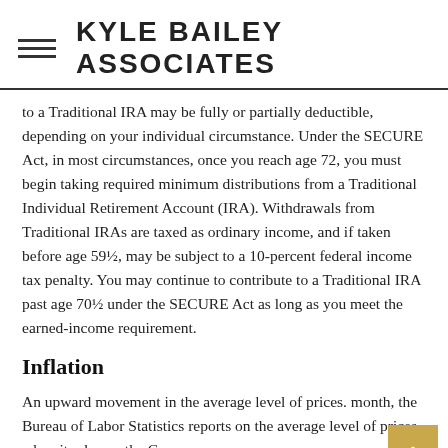KYLE BAILEY ASSOCIATES
to a Traditional IRA may be fully or partially deductible, depending on your individual circumstance. Under the SECURE Act, in most circumstances, once you reach age 72, you must begin taking required minimum distributions from a Traditional Individual Retirement Account (IRA). Withdrawals from Traditional IRAs are taxed as ordinary income, and if taken before age 59½, may be subject to a 10-percent federal income tax penalty. You may continue to contribute to a Traditional IRA past age 70½ under the SECURE Act as long as you meet the earned-income requirement.
Inflation
An upward movement in the average level of prices. month, the Bureau of Labor Statistics reports on the average level of prices when it releases the Consumer